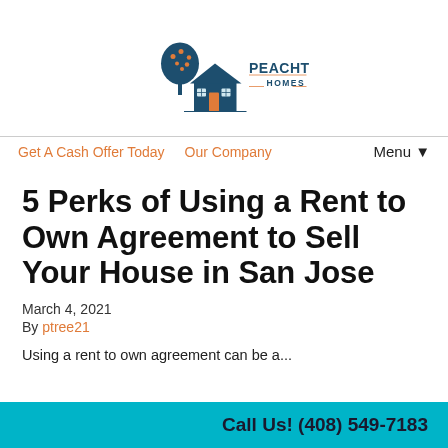[Figure (logo): Peachtree Homes logo with house and tree illustration in navy blue and orange, text PEACHTREE HOMES]
Get A Cash Offer Today   Our Company   Menu▼
5 Perks of Using a Rent to Own Agreement to Sell Your House in San Jose
March 4, 2021
By ptree21
Using a rent to own agreement can be a...
Call Us! (408) 549-7183